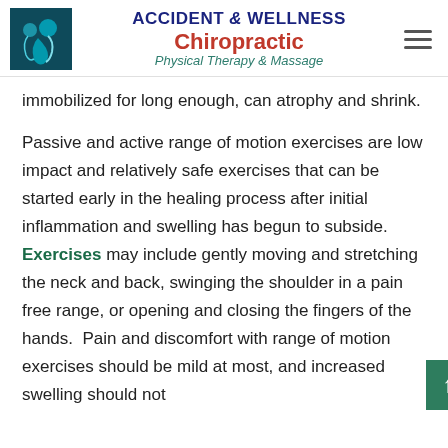[Figure (logo): Accident & Wellness Chiropractic Physical Therapy & Massage logo with teal spine/person graphic and text]
immobilized for long enough, can atrophy and shrink.
Passive and active range of motion exercises are low impact and relatively safe exercises that can be started early in the healing process after initial inflammation and swelling has begun to subside. Exercises may include gently moving and stretching the neck and back, swinging the shoulder in a pain free range, or opening and closing the fingers of the hands.  Pain and discomfort with range of motion exercises should be mild at most, and increased swelling should not